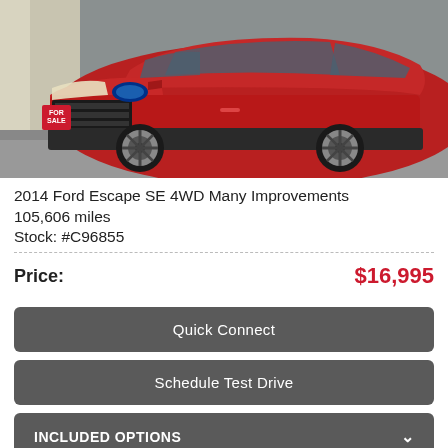[Figure (photo): Red 2014 Ford Escape SUV with a 'For Sale' sign on the front grille, photographed outdoors in a parking area.]
2014 Ford Escape SE 4WD Many Improvements
105,606 miles
Stock: #C96855
Price: $16,995
Quick Connect
Schedule Test Drive
INCLUDED OPTIONS